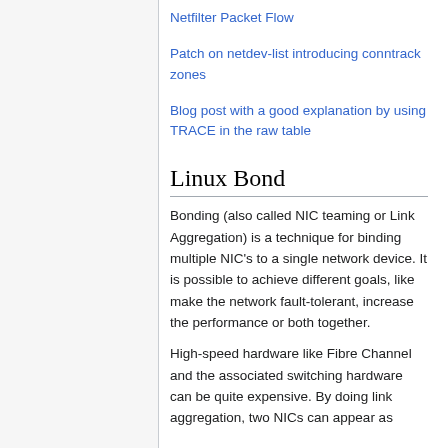Netfilter Packet Flow
Patch on netdev-list introducing conntrack zones
Blog post with a good explanation by using TRACE in the raw table
Linux Bond
Bonding (also called NIC teaming or Link Aggregation) is a technique for binding multiple NIC’s to a single network device. It is possible to achieve different goals, like make the network fault-tolerant, increase the performance or both together.
High-speed hardware like Fibre Channel and the associated switching hardware can be quite expensive. By doing link aggregation, two NICs can appear as